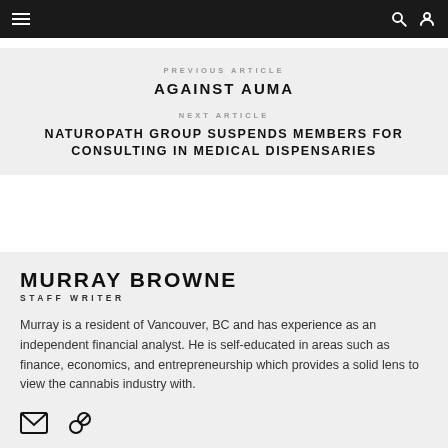Navigation bar with menu, search, and user icons
PREVIOUS ARTICLE
AGAINST AUMA
NEXT ARTICLE
NATUROPATH GROUP SUSPENDS MEMBERS FOR CONSULTING IN MEDICAL DISPENSARIES
MURRAY BROWNE
STAFF WRITER
Murray is a resident of Vancouver, BC and has experience as an independent financial analyst. He is self-educated in areas such as finance, economics, and entrepreneurship which provides a solid lens to view the cannabis industry with.